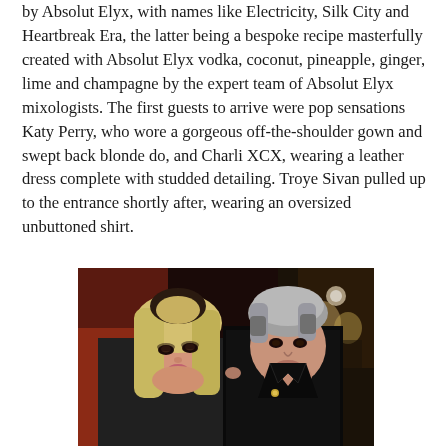by Absolut Elyx, with names like Electricity, Silk City and Heartbreak Era, the latter being a bespoke recipe masterfully created with Absolut Elyx vodka, coconut, pineapple, ginger, lime and champagne by the expert team of Absolut Elyx mixologists. The first guests to arrive were pop sensations Katy Perry, who wore a gorgeous off-the-shoulder gown and swept back blonde do, and Charli XCX, wearing a leather dress complete with studded detailing. Troye Sivan pulled up to the entrance shortly after, wearing an oversized unbuttoned shirt.
[Figure (photo): Two people posing for a photo at an event. A woman with long blonde hair wearing a dark outfit on the left, and a man with silver/grey hair wearing a black outfit on the right. Dark background with other event attendees visible.]